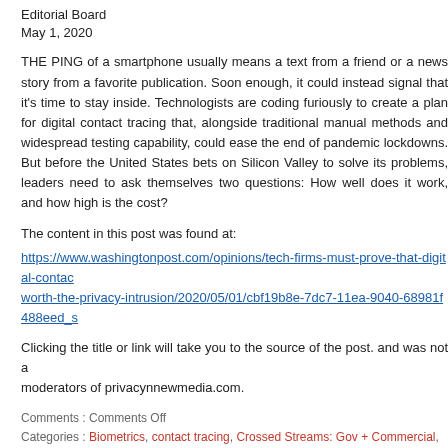Editorial Board
May 1, 2020
THE PING of a smartphone usually means a text from a friend or a news story from a favorite publication. Soon enough, it could instead signal that it's time to stay inside. Technologists are coding furiously to create a plan for digital contact tracing that, alongside traditional manual methods and widespread testing capability, could ease the end of pandemic lockdowns. But before the United States bets on Silicon Valley to solve its problems, leaders need to ask themselves two questions: How well does it work, and how high is the cost?
The content in this post was found at:
https://www.washingtonpost.com/opinions/tech-firms-must-prove-that-digital-contact-tracing-is-worth-the-privacy-intrusion/2020/05/01/cbf19b8e-7dc7-11ea-9040-68981f488eed_s
Clicking the title or link will take you to the source of the post. and was not authored by the moderators of privacynnewmedia.com.
Comments : Comments Off
Categories : Biometrics, contact tracing, Crossed Streams: Gov + Commercial, FIP 2: Discover, FIP Repair, FIP 5: Protect the data you have